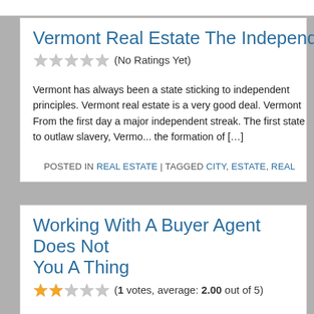Vermont Real Estate The Independent
(No Ratings Yet)
Vermont has always been a state sticking to independent principles. Vermont real estate is a very good deal. Vermont From the first day a major independent streak. The first state to outlaw slavery, Vermo... the formation of […]
POSTED IN REAL ESTATE | TAGGED CITY, ESTATE, REAL
Working With A Buyer Agent Does Not You A Thing
(1 votes, average: 2.00 out of 5)
Are there a lot of homes sitting unsold in your neighborhood? Are p... you can do is search the MLS yourself just like a Realtor. www.Rea... area home buyers find their dream home. You can change your sea...